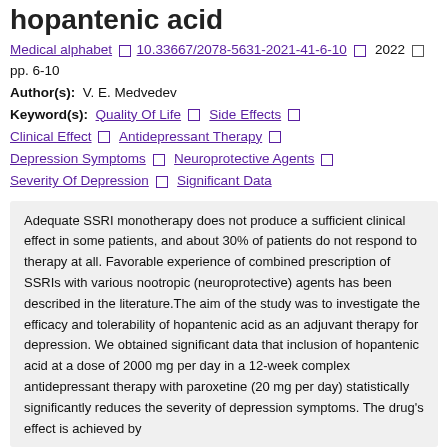hopantenic acid
Medical alphabet □ 10.33667/2078-5631-2021-41-6-10 □ 2022 □ pp. 6-10
Author(s): V. E. Medvedev
Keyword(s): Quality Of Life □ Side Effects □ Clinical Effect □ Antidepressant Therapy □ Depression Symptoms □ Neuroprotective Agents □ Severity Of Depression □ Significant Data
Adequate SSRI monotherapy does not produce a sufficient clinical effect in some patients, and about 30% of patients do not respond to therapy at all. Favorable experience of combined prescription of SSRIs with various nootropic (neuroprotective) agents has been described in the literature.The aim of the study was to investigate the efficacy and tolerability of hopantenic acid as an adjuvant therapy for depression. We obtained significant data that inclusion of hopantenic acid at a dose of 2000 mg per day in a 12-week complex antidepressant therapy with paroxetine (20 mg per day) statistically significantly reduces the severity of depression symptoms. The drug's effect is achieved by